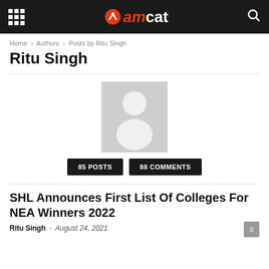amcat
Home › Authors › Posts by Ritu Singh
Ritu Singh
[Figure (photo): Default avatar placeholder image — grey square with white silhouette of a person]
85 POSTS   88 COMMENTS
SHL Announces First List Of Colleges For NEA Winners 2022
Ritu Singh · August 24, 2021